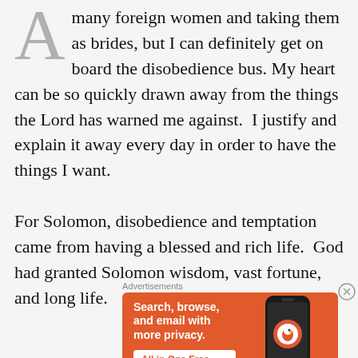A many foreign women and taking them as brides, but I can definitely get on board the disobedience bus. My heart can be so quickly drawn away from the things the Lord has warned me against.  I justify and explain it away every day in order to have the things I want.

For Solomon, disobedience and temptation came from having a blessed and rich life.  God had granted Solomon wisdom, vast fortune, and long life.
[Figure (screenshot): DuckDuckGo advertisement banner: orange background with white bold text 'Search, browse, and email with more privacy.' and a white button 'All in One Free App', alongside a phone mockup showing the DuckDuckGo logo and the text 'DuckDuckGo.']